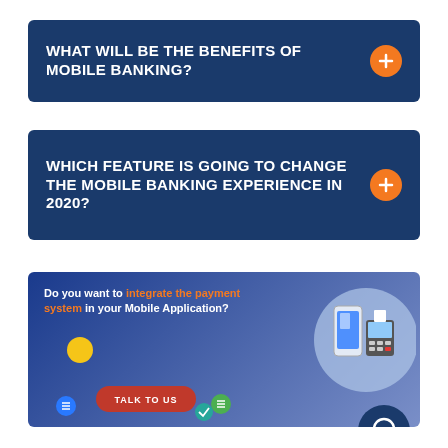WHAT WILL BE THE BENEFITS OF MOBILE BANKING?
WHICH FEATURE IS GOING TO CHANGE THE MOBILE BANKING EXPERIENCE IN 2020?
[Figure (infographic): Call-to-action banner with text 'Do you want to integrate the payment system in your Mobile Application?' and a 'TALK TO US' button, with decorative icons and a phone/payment terminal illustration on the right, and a dark blue chat bubble icon at the bottom right.]